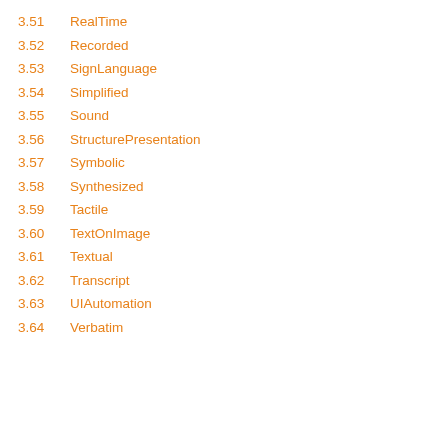3.51    RealTime
3.52    Recorded
3.53    SignLanguage
3.54    Simplified
3.55    Sound
3.56    StructurePresentation
3.57    Symbolic
3.58    Synthesized
3.59    Tactile
3.60    TextOnImage
3.61    Textual
3.62    Transcript
3.63    UIAutomation
3.64    Verbatim